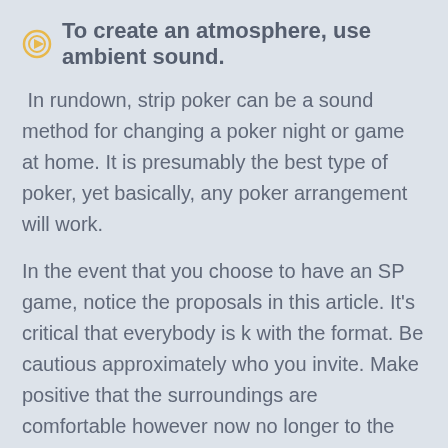To create an atmosphere, use ambient sound.
In rundown, strip poker can be a sound method for changing a poker night or game at home. It is presumably the best type of poker, yet basically, any poker arrangement will work.
In the event that you choose to have an SP game, notice the proposals in this article. It's critical that everybody is k with the format. Be cautious approximately who you invite. Make positive that the surroundings are comfortable however now no longer to the factor of being claustrophobic.
No one need to experience uncomfortable approximately playing. Make positive the regulations are clean beforehand. And every participant needs to